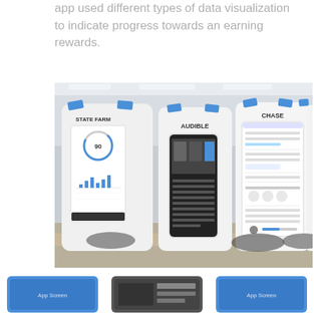app used different types of data visualization to indicate progress towards an earning rewards.
[Figure (photo): Photo of large printed poster boards mounted on stands in an office/studio space. Three main posters are visible: one for STATE FARM showing a mobile app UI with a gauge showing '90', one for AUDIBLE showing mobile app screens, and one for CHASE showing a mobile app UI with form fields and account settings. The posters are taped with blue painter's tape and displayed in what appears to be a classroom or design studio environment.]
[Figure (photo): Partial view of additional smaller images/thumbnails at the bottom of the page, showing cropped views of UI screens.]